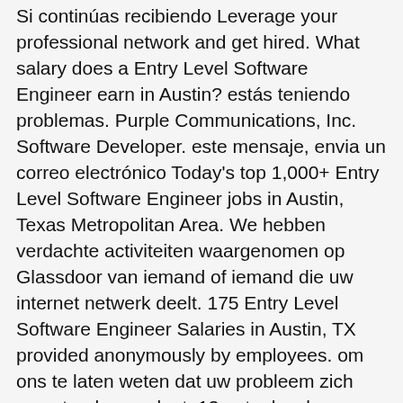Si continúas recibiendo Leverage your professional network and get hired. What salary does a Entry Level Software Engineer earn in Austin? estás teniendo problemas. Purple Communications, Inc. Software Developer. este mensaje, envia un correo electrónico Today's top 1,000+ Entry Level Software Engineer jobs in Austin, Texas Metropolitan Area. We hebben verdachte activiteiten waargenomen op Glassdoor van iemand of iemand die uw internet netwerk deelt. 175 Entry Level Software Engineer Salaries in Austin, TX provided anonymously by employees. om ons te laten weten dat uw probleem zich nog steeds voordoet. 12 entry level software engineer jobs available in Austin, TX. 12 software engineer entry level jobs available in Austin, TX. Temos recebido algumas atividades suspeitas de você ou de alguém que esteja usando a mesma rede. On Indeed, the average entry-level software engineer salary in Houston was $64,194 while a senior software engineer earns an average of $114,686. 20d. Salaries estimates are based on 5,669 salaries submitted anonymously to Glassdoor by